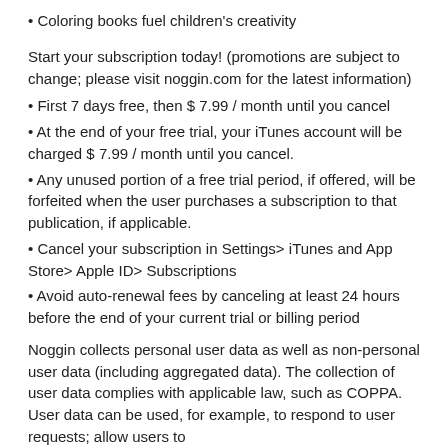• Coloring books fuel children's creativity
Start your subscription today! (promotions are subject to change; please visit noggin.com for the latest information)
• First 7 days free, then $ 7.99 / month until you cancel
• At the end of your free trial, your iTunes account will be charged $ 7.99 / month until you cancel.
• Any unused portion of a free trial period, if offered, will be forfeited when the user purchases a subscription to that publication, if applicable.
• Cancel your subscription in Settings> iTunes and App Store> Apple ID> Subscriptions
• Avoid auto-renewal fees by canceling at least 24 hours before the end of your current trial or billing period
Noggin collects personal user data as well as non-personal user data (including aggregated data). The collection of user data complies with applicable law, such as COPPA. User data can be used, for example, to respond to user requests; allow users to